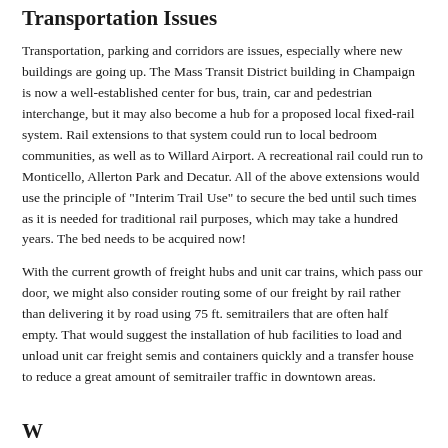Transportation Issues
Transportation, parking and corridors are issues, especially where new buildings are going up. The Mass Transit District building in Champaign is now a well-established center for bus, train, car and pedestrian interchange, but it may also become a hub for a proposed local fixed-rail system. Rail extensions to that system could run to local bedroom communities, as well as to Willard Airport. A recreational rail could run to Monticello, Allerton Park and Decatur. All of the above extensions would use the principle of "Interim Trail Use" to secure the bed until such times as it is needed for traditional rail purposes, which may take a hundred years. The bed needs to be acquired now!
With the current growth of freight hubs and unit car trains, which pass our door, we might also consider routing some of our freight by rail rather than delivering it by road using 75 ft. semitrailers that are often half empty. That would suggest the installation of hub facilities to load and unload unit car freight semis and containers quickly and a transfer house to reduce a great amount of semitrailer traffic in downtown areas.
W...